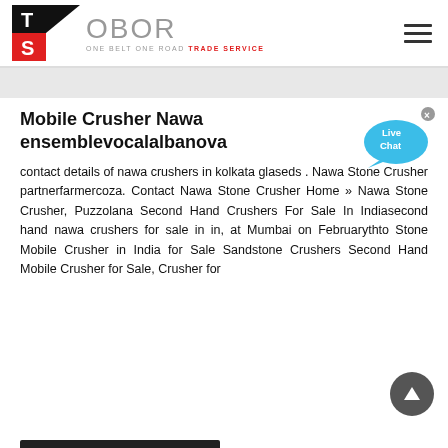OBOR — ONE BELT ONE ROAD TRADE SERVICE
Mobile Crusher Nawa ensemblevocalalbanova
[Figure (illustration): Live Chat speech bubble icon in cyan/blue with text 'Live Chat']
contact details of nawa crushers in kolkata glaseds . Nawa Stone Crusher partnerfarmercoza. Contact Nawa Stone Crusher Home » Nawa Stone Crusher, Puzzolana Second Hand Crushers For Sale In Indiasecond hand nawa crushers for sale in in, at Mumbai on Februarythto Stone Mobile Crusher in India for Sale Sandstone Crushers Second Hand Mobile Crusher for Sale, Crusher for
[Figure (illustration): Dark grey circle with upward arrow (scroll-to-top button)]